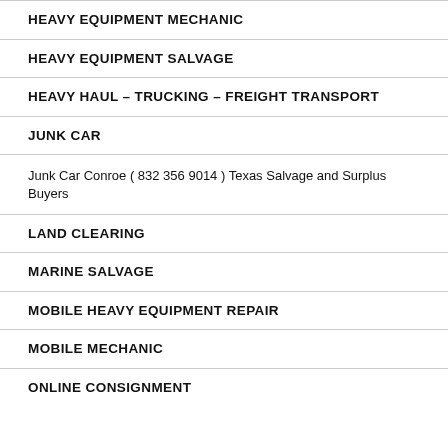HEAVY EQUIPMENT MECHANIC
HEAVY EQUIPMENT SALVAGE
HEAVY HAUL – TRUCKING – FREIGHT TRANSPORT
JUNK CAR
Junk Car Conroe ( 832 356 9014 ) Texas Salvage and Surplus Buyers
LAND CLEARING
MARINE SALVAGE
MOBILE HEAVY EQUIPMENT REPAIR
MOBILE MECHANIC
ONLINE CONSIGNMENT